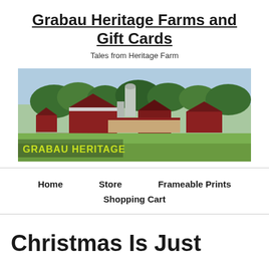Grabau Heritage Farms and Gift Cards
Tales from Heritage Farm
[Figure (photo): Aerial/wide view of Grabau Heritage Farm showing red barns, grain silos, farm buildings, green trees, and fields. Text overlay reads 'GRABAU HERITAGE' in yellow-green on the lower left.]
Home     Store     Frameable Prints
Shopping Cart
Christmas Is Just